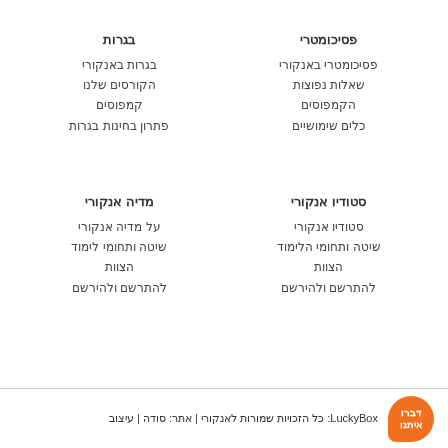פסיכומטרי
פסיכומטרי באנקורי
שאלות נפוצות
הקמפוסים
כלים שימושיים
בגרות
בגרות באנקורי
הקורסים שלנו
קמפוסים
פתרון בחינות בגרות
מדיה אנקורי
על מדיה אנקורי
שיטה ותחומי לימוד
הצוות
להתרשם ולהירשם
סטודיו אנקורי
סטודיו אנקורי
שיטה ותחומי הלימוד
הצוות
להתרשם ולהירשם
דברו איתנו | LuckyBox: כל הזכויות שמורות לאנקורי | אתר: סודה | עיצוב